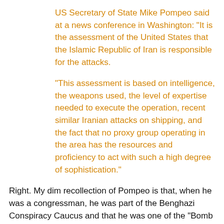US Secretary of State Mike Pompeo said at a news conference in Washington: "It is the assessment of the United States that the Islamic Republic of Iran is responsible for the attacks.
"This assessment is based on intelligence, the weapons used, the level of expertise needed to execute the operation, recent similar Iranian attacks on shipping, and the fact that no proxy group operating in the area has the resources and proficiency to act with such a high degree of sophistication."
Right. My dim recollection of Pompeo is that, when he was a congressman, he was part of the Benghazi Conspiracy Caucus and that he was one of the "Bomb Iran" wingnuts.
So, do I trust Pompeo? Nope. We've been down this road before, when chickenhawks in the Bush-II Aministration cherry-picked and/or flat-out lied about intelligence to gin up their Extra Special Iraq War, a way which destabilized the region and led to the birth of ISIS.